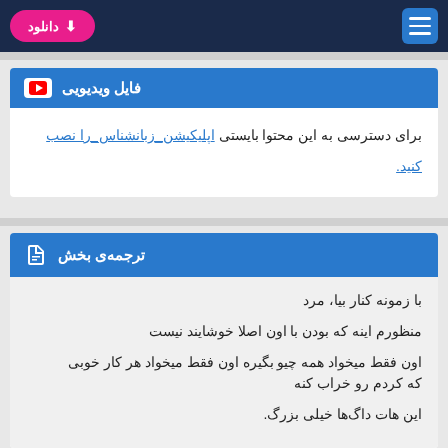دانلود | (hamburger menu)
فایل ویدیویی
برای دسترسی به این محتوا بایستی اپلیکیشن_زبانشناس_را نصب کنید.
ترجمه‌ی بخش
با زمونه کنار بیا، مرد
منظورم اینه که بودن با اون اصلا خوشایند نیست
اون فقط میخواد همه چیو بگیره اون فقط میخواد هر کار خوبی که کردم رو خراب کنه
این هات داگ‌ها خیلی بزرگ.